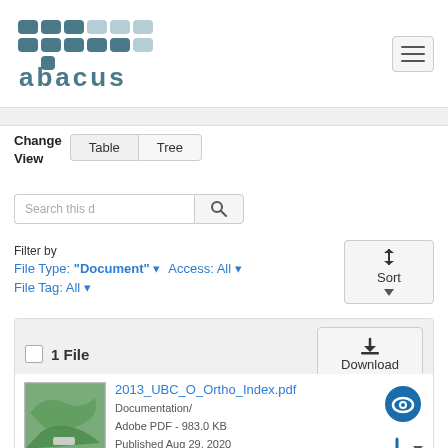[Figure (logo): Abacus logo with grid of colored squares and text]
Change View  Table  Tree
Search this d
Filter by
File Type: "Document" ▼  Access: All ▼
File Tag: All ▼
1 File
Download
2013_UBC_O_Ortho_Index.pdf
Documentation/
Adobe PDF - 983.0 KB
Published Aug 29, 2020
2 Downloads
MD5: 5ba...85b
Orthophoto Boundary (PDF)